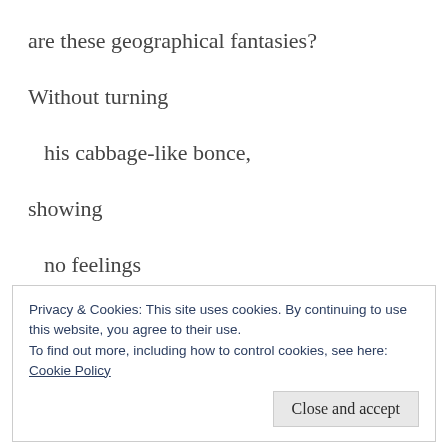are these geographical fantasies?
Without turning
his cabbage-like bonce,
showing
no feelings
Privacy & Cookies: This site uses cookies. By continuing to use this website, you agree to their use.
To find out more, including how to control cookies, see here:
Cookie Policy
Close and accept